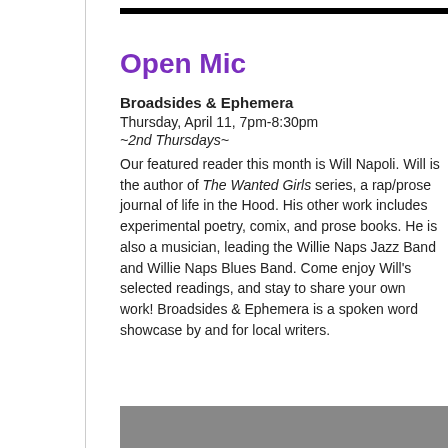Open Mic
Broadsides & Ephemera
Thursday, April 11, 7pm-8:30pm
~2nd Thursdays~
Our featured reader this month is Will Napoli. Will is the author of The Wanted Girls series, a rap/prose journal of life in the Hood. His other work includes experimental poetry, comix, and prose books. He is also a musician, leading the Willie Naps Jazz Band and Willie Naps Blues Band. Come enjoy Will's selected readings, and stay to share your own work! Broadsides & Ephemera is a spoken word showcase by and for local writers.